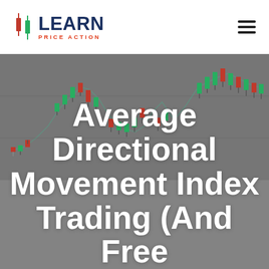[Figure (logo): iLearn Price Action logo with candlestick icon — two candlestick figures (red and green) beside bold dark-blue text 'LEARN' with red subtitle 'PRICE ACTION']
[Figure (illustration): Candlestick chart background showing multiple candlestick bars with green and red bodies over a dark gray background, depicting price movements with uptrends and downtrends]
Average Directional Movement Index Trading (And Free